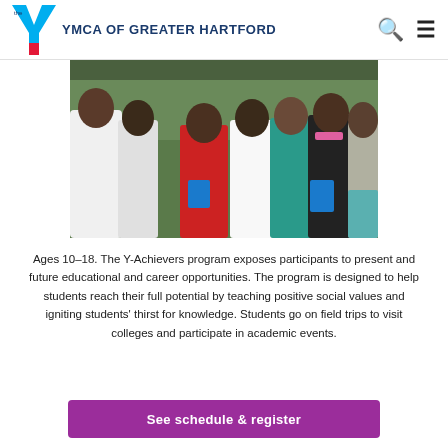YMCA OF GREATER HARTFORD
[Figure (photo): Group of young students standing together outdoors, several holding blue bags]
Ages 10–18. The Y-Achievers program exposes participants to present and future educational and career opportunities. The program is designed to help students reach their full potential by teaching positive social values and igniting students' thirst for knowledge. Students go on field trips to visit colleges and participate in academic events.
See schedule & register